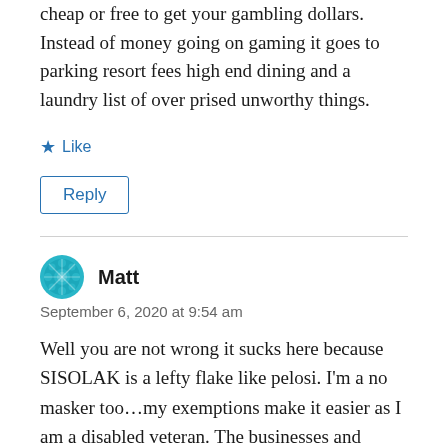cheap or free to get your gambling dollars. Instead of money going on gaming it goes to parking resort fees high end dining and a laundry list of over prised unworthy things.
Like
Reply
Matt
September 6, 2020 at 9:54 am
Well you are not wrong it sucks here because SISOLAK is a lefty flake like pelosi. I'm a no masker too…my exemptions make it easier as I am a disabled veteran. The businesses and